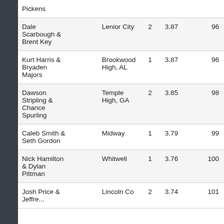| Pickens |  |  |  |  |
| Dale Scarbough & Brent Key | Lenior City | 2 | 3.87 | 96 |
| Kurt Harris & Bryaden Majors | Brookwood High, AL | 1 | 3.87 | 96 |
| Dawson Stripling & Chance Spurling | Temple High, GA | 2 | 3.85 | 98 |
| Caleb Smith & Seth Gordon | Midway | 1 | 3.79 | 99 |
| Nick Hamilton & Dylan Pittman | Whitwell | 1 | 3.76 | 100 |
| Josh Price & ... | Lincoln Co | 2 | 3.74 | 101 |